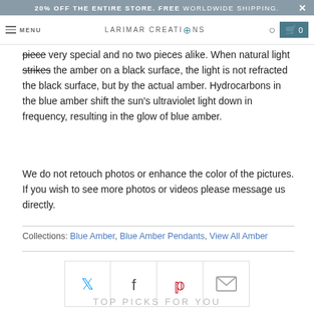20% OFF THE ENTIRE STORE. FREE WORLDWIDE SHIPPING.
MENU  LARIMAR CREATIONS  0
piece very special and no two pieces alike. When natural light strikes the amber on a black surface, the light is not refracted the black surface, but by the actual amber. Hydrocarbons in the blue amber shift the sun's ultraviolet light down in frequency, resulting in the glow of blue amber.
We do not retouch photos or enhance the color of the pictures. If you wish to see more photos or videos please message us directly.
Collections: Blue Amber, Blue Amber Pendants, View All Amber
[Figure (other): Social sharing buttons: Twitter, Facebook, Pinterest, Email]
TOP PICKS FOR YOU